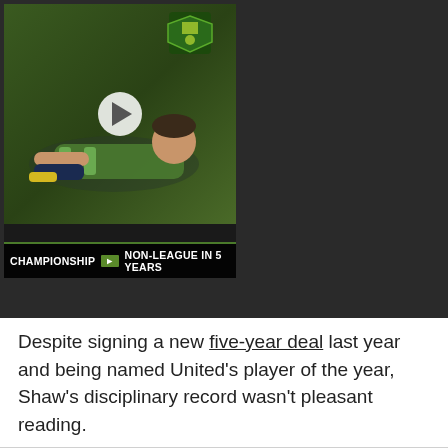[Figure (screenshot): Video thumbnail showing a football player on the ground wearing a green kit, with a play button overlay. Text overlay reads 'Championship → Non-League In 5 Years'. A club crest is visible in the top right of the thumbnail.]
Despite signing a new five-year deal last year and being named United's player of the year, Shaw's disciplinary record wasn't pleasant reading.